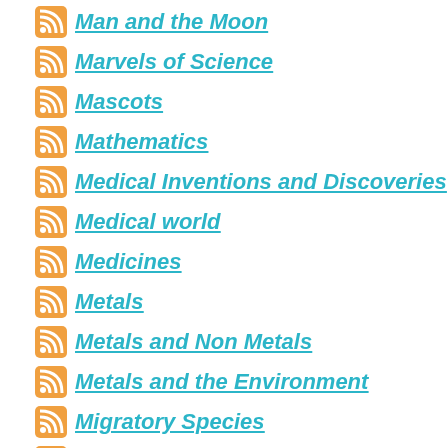Man and the Moon
Marvels of Science
Mascots
Mathematics
Medical Inventions and Discoveries
Medical world
Medicines
Metals
Metals and Non Metals
Metals and the Environment
Migratory Species
Modern Science
Money
Motor Vehicle Act